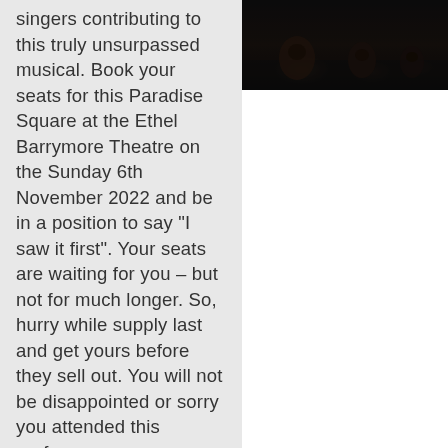singers contributing to this truly unsurpassed musical. Book your seats for this Paradise Square at the Ethel Barrymore Theatre on the Sunday 6th November 2022 and be in a position to say "I saw it first". Your seats are waiting for you – but not for much longer. So, hurry while supply last and get yours before they sell out. You will not be disappointed or sorry you attended this performance.
[Figure (photo): Dark stage photo showing silhouettes of performers on a stage, dimly lit from below, against a black background.]